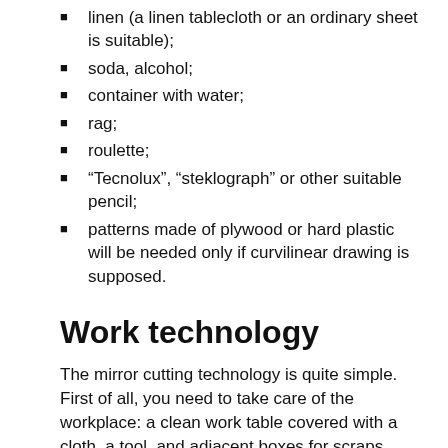linen (a linen tablecloth or an ordinary sheet is suitable);
soda, alcohol;
container with water;
rag;
roulette;
“Tecnolux”, “steklograph” or other suitable pencil;
patterns made of plywood or hard plastic will be needed only if curvilinear drawing is supposed.
Work technology
The mirror cutting technology is quite simple. First of all, you need to take care of the workplace: a clean work table covered with a cloth, a tool, and adjacent boxes for scraps. Before you start cutting the main piece of the mirror, it is worth practicing on some